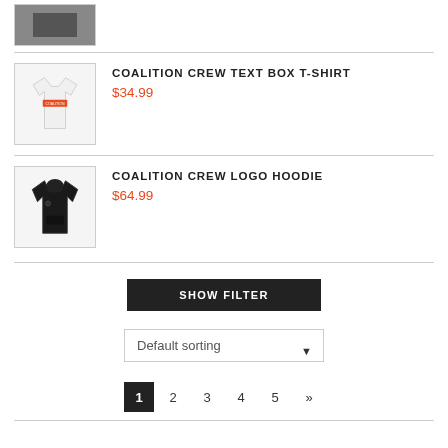[Figure (photo): Product image of Coalition Crew Text Box T-Shirt - white t-shirt with orange logo box]
COALITION CREW TEXT BOX T-SHIRT
$34.99
[Figure (photo): Product image of Coalition Crew Logo Hoodie - black hoodie]
COALITION CREW LOGO HOODIE
$64.99
SHOW FILTER
Default sorting
1  2  3  4  5  »